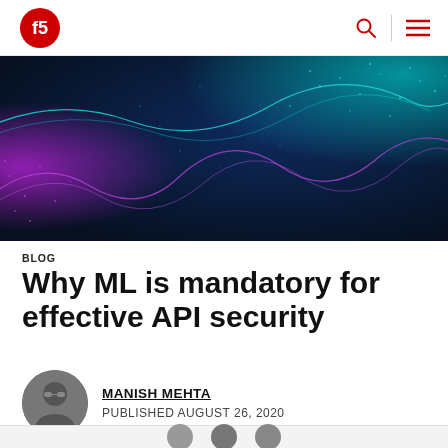F5 logo and navigation bar
[Figure (illustration): Hero banner image showing an abstract dark blue background with glowing teal and purple wave-like digital particle lines flowing across the image, suggesting network or data streams.]
BLOG
Why ML is mandatory for effective API security
MANISH MEHTA
PUBLISHED AUGUST 26, 2020